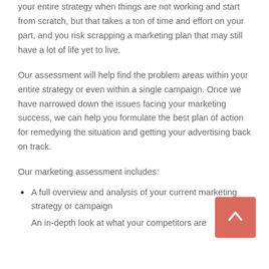your entire strategy when things are not working and start from scratch, but that takes a ton of time and effort on your part, and you risk scrapping a marketing plan that may still have a lot of life yet to live.
Our assessment will help find the problem areas within your entire strategy or even within a single campaign. Once we have narrowed down the issues facing your marketing success, we can help you formulate the best plan of action for remedying the situation and getting your advertising back on track.
Our marketing assessment includes:
A full overview and analysis of your current marketing strategy or campaign
An in-depth look at what your competitors are